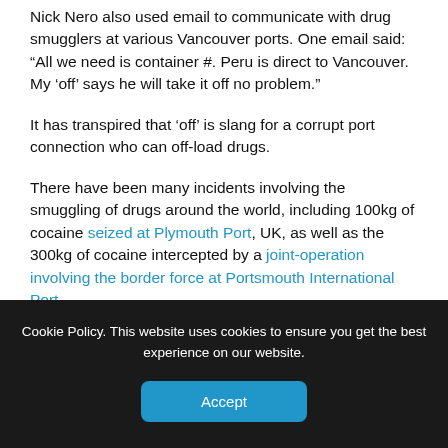Nick Nero also used email to communicate with drug smugglers at various Vancouver ports. One email said: “All we need is container #. Peru is direct to Vancouver. My ‘off’ says he will take it off no problem.”
It has transpired that ‘off’ is slang for a corrupt port connection who can off-load drugs.
There have been many incidents involving the smuggling of drugs around the world, including 100kg of cocaine seized at Plymouth Port, UK, as well as the 300kg of cocaine intercepted by a joint-operation involving the border force at Portsmouth International Port.
Cookie Policy. This website uses cookies to ensure you get the best experience on our website.